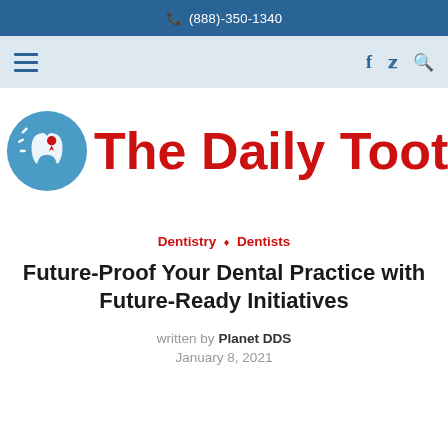(888)-350-1340
[Figure (logo): Navigation bar with hamburger menu icon on left and social/search icons (f, bird, magnifier) on right, on light blue background]
[Figure (logo): The Daily Tooth logo: blue circle with tooth and location pin icon, followed by red bold text 'The Daily Tooth']
Dentistry ◇ Dentists
Future-Proof Your Dental Practice with Future-Ready Initiatives
written by Planet DDS
January 8, 2021